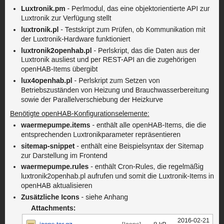Luxtronik.pm - Perlmodul, das eine objektorientierte API zur Luxtronik zur Verfügung stellt
luxtronik.pl - Testskript zum Prüfen, ob Kommunikation mit der Luxtronik-Hardware funktioniert
luxtronik2openhab.pl - Perlskript, das die Daten aus der Luxtronik ausliest und per REST-API an die zugehörigen openHAB-Items übergibt
lux4openhab.pl - Perlskript zum Setzen von Betriebszuständen von Heizung und Brauchwasserbereitung sowie der Parallelverschiebung der Heizkurve
Benötigte openHAB-Konfigurationselemente:
waermepumpe.items - enthält alle openHAB-Items, die die entsprechenden Luxtronikparameter repräsentieren
sitemap-snippet - enthält eine Beispielsyntax der Sitemap zur Darstellung im Frontend
waermepumpe.rules - enthält Cron-Rules, die regelmäßig luxtronik2openhab.pl aufrufen und somit die Luxtronik-Items in openHAB aktualisieren
Zusätzliche Icons - siehe Anhang
Attachments:
|  | Name | Type | Size | Date |
| --- | --- | --- | --- | --- |
| [icon] | icons.tar.gz | [Icons] | 8 kB | 2016-02-21 18:20 |